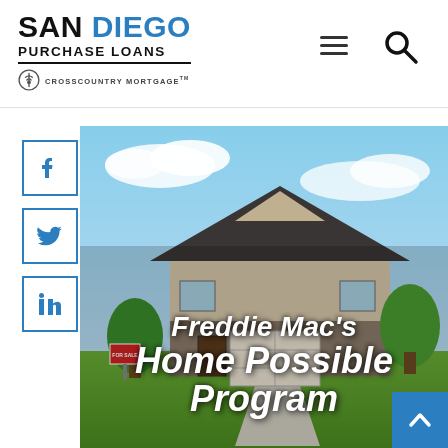[Figure (logo): San Diego Purchase Loans logo with CrossCountry Mortgage branding]
[Figure (illustration): Hamburger menu icon (three horizontal lines)]
[Figure (illustration): Search magnifying glass icon]
[Figure (illustration): Facebook social media icon in blue-bordered square]
[Figure (illustration): Twitter social media icon in blue-bordered square]
[Figure (illustration): LinkedIn social media icon in blue-bordered square]
[Figure (photo): Hero image of a suburban house with blue sky background and text overlay reading Freddie Mac's Home Possible Program]